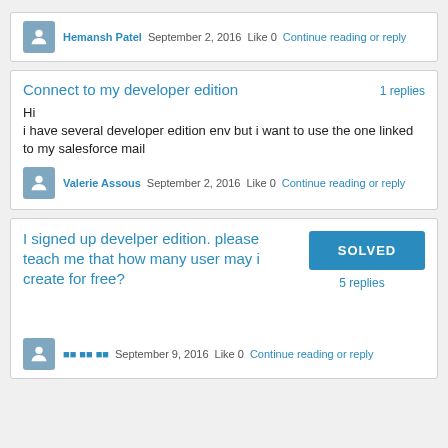Hemansh Patel  September 2, 2016  Like 0  Continue reading or reply
Connect to my developer edition
1 replies
Hi
i have several developer edition env but i want to use the one linked to my salesforce mail
Valerie Assous  September 2, 2016  Like 0  Continue reading or reply
I signed up develper edition. please teach me that how many user may i create for free?
SOLVED
5 replies
??? September 9, 2016  Like 0  Continue reading or reply